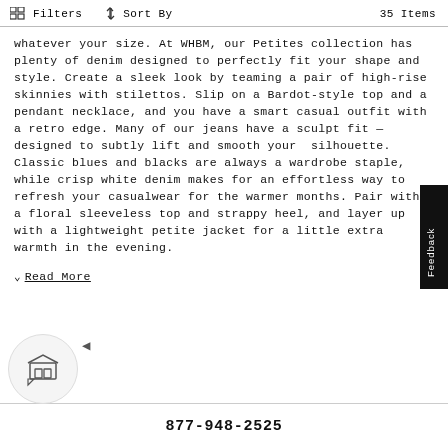Filters  Sort By  35 Items
whatever your size. At WHBM, our Petites collection has plenty of denim designed to perfectly fit your shape and style. Create a sleek look by teaming a pair of high-rise skinnies with stilettos. Slip on a Bardot-style top and a pendant necklace, and you have a smart casual outfit with a retro edge. Many of our jeans have a sculpt fit — designed to subtly lift and smooth your silhouette. Classic blues and blacks are always a wardrobe staple, while crisp white denim makes for an effortless way to refresh your casualwear for the warmer months. Pair with a floral sleeveless top and strappy heel, and layer up with a lightweight petite jacket for a little extra warmth in the evening.
Read More
877-948-2525